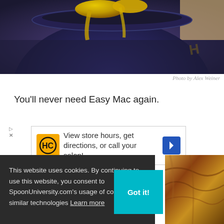[Figure (photo): Close-up photo of macaroni and cheese in a dark navy blue mug, with melted yellow cheese visible, held by a hand with a beige/tan background]
Photo by Alex Weiner
You'll never need Easy Mac again.
[Figure (other): Advertisement banner: HC logo (Hair Club) with text 'View store hours, get directions, or call your salon!' and a blue diamond direction arrow icon]
This website uses cookies. By continuing to use this website, you consent to SpoonUniversity.com's usage of cookies and similar technologies Learn more
[Figure (photo): Partial photo of toasted bread or grilled cheese sandwich, golden-brown colored, visible at bottom right]